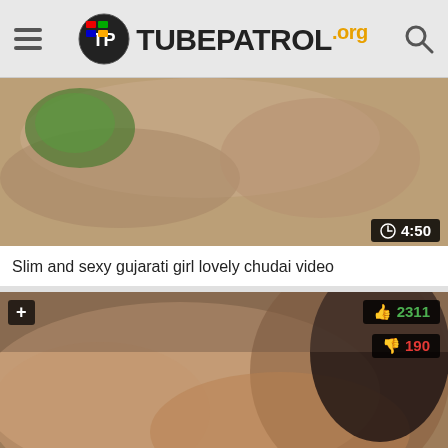TubePetrol.org
[Figure (screenshot): Video thumbnail showing blurred intimate content with duration badge showing 4:50]
Slim and sexy gujarati girl lovely chudai video
[Figure (screenshot): Video thumbnail showing adult content with like count 2311, dislike count 190, watermark hotMILF and duration badge 6:20]